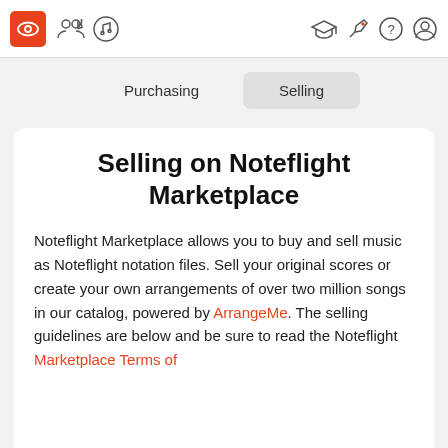[Figure (screenshot): Noteflight app navigation bar with logo, icons for people/music, and right-side icons for graduation cap, rocket/pen, help, and user profile]
Purchasing
Selling
Selling on Noteflight Marketplace
Noteflight Marketplace allows you to buy and sell music as Noteflight notation files. Sell your original scores or create your own arrangements of over two million songs in our catalog, powered by ArrangeMe. The selling guidelines are below and be sure to read the Noteflight Marketplace Terms of